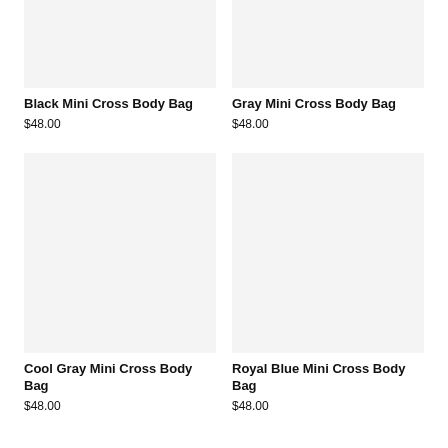[Figure (photo): Product image placeholder for Black Mini Cross Body Bag, light gray rectangle]
Black Mini Cross Body Bag
$48.00
[Figure (photo): Product image placeholder for Gray Mini Cross Body Bag, light gray rectangle]
Gray Mini Cross Body Bag
$48.00
[Figure (photo): Product image placeholder for Cool Gray Mini Cross Body Bag, light gray tall rectangle]
Cool Gray Mini Cross Body Bag
$48.00
[Figure (photo): Product image placeholder for Royal Blue Mini Cross Body Bag, light gray tall rectangle]
Royal Blue Mini Cross Body Bag
$48.00